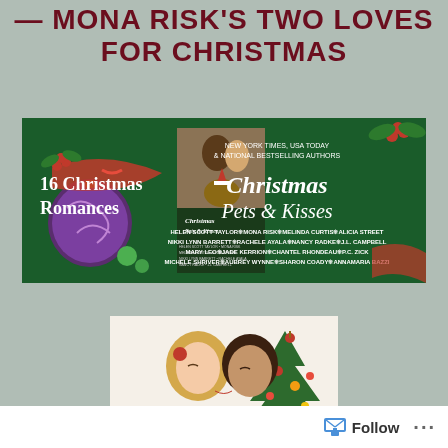MONA RISK'S TWO LOVES FOR CHRISTMAS
[Figure (illustration): Book promotional banner for 'Christmas Pets & Kisses' anthology on a dark green background. Left side shows Christmas decorations (ornament, holly, red ribbon) with text '16 Christmas Romances'. Center shows the book cover with a couple and a dog wearing a Santa hat. Right side shows large title text 'Christmas Pets & Kisses' with author names listed: Helen Scott Taylor, Mona Risk, Melinda Curtis, Alicia Street, Nikki Lynn Barrett, Rachele Ayala, Nancy Radke, J.L. Campbell, Mary Leo, Jade Kerrion, Chantel Rhondeau, P.C. Zick, Michele Shriver, Aubrey Wynne, Sharon Coady, Annamaria Bazzi. Top right reads: New York Times, USA Today & National Bestselling Authors.]
[Figure (photo): A couple kissing near a Christmas tree. A woman with blonde hair and a man with dark hair are kissing, with a decorated Christmas tree visible on the right side of the image.]
Follow ...